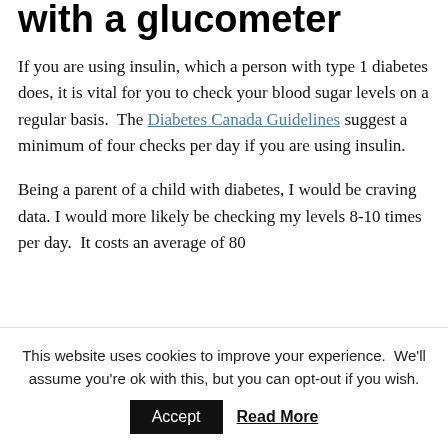with a glucometer
If you are using insulin, which a person with type 1 diabetes does, it is vital for you to check your blood sugar levels on a regular basis. The Diabetes Canada Guidelines suggest a minimum of four checks per day if you are using insulin.
Being a parent of a child with diabetes, I would be craving data. I would more likely be checking my levels 8-10 times per day. It costs an average of 80
This website uses cookies to improve your experience. We'll assume you're ok with this, but you can opt-out if you wish.
Accept   Read More